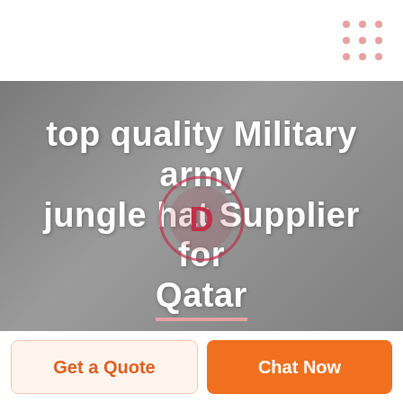[Figure (other): 3x3 dot grid decoration in pink/salmon color, top right corner]
[Figure (photo): Hero banner with grey textured background and circular play button icon (dark red/maroon circle with 'D' logo). Overlaid bold white text reads 'top quality Military army jungle hat Supplier for Qatar' with a pink underline accent under 'Qatar'.]
top quality Military army jungle hat Supplier for Qatar
Get a Quote
Chat Now